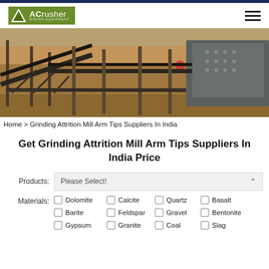[Figure (logo): ACrusher Mining Equipment logo with green background and triangle icon]
[Figure (photo): Industrial mining/crushing equipment with conveyor belts, steel frames, and machinery at an outdoor site]
Home > Grinding Attrition Mill Arm Tips Suppliers In India
Get Grinding Attrition Mill Arm Tips Suppliers In India Price
Products: Please Select!
Materials: Dolomite  Calcite  Quartz  Basalt  Barite  Feldspar  Gravel  Bentonite  Gypsum  Granite  Coal  Slag